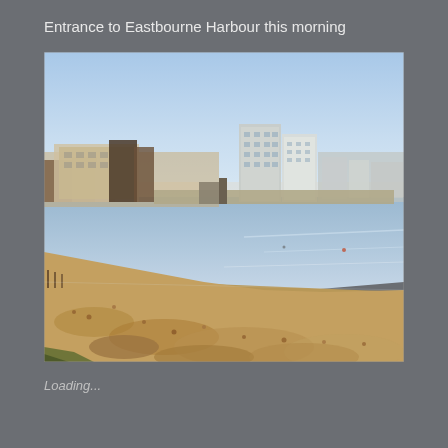Entrance to Eastbourne Harbour this morning
[Figure (photo): Photograph of the entrance to Eastbourne Harbour on a clear morning. In the foreground is a shingle/pebble beach curving around to the left. The calm water of the harbour reflects the blue sky. In the background across the water are multi-storey residential apartment buildings and some lower structures, with a gate or lock visible at the harbour entrance. The sky is clear and pale blue with a warm early-morning light.]
Loading...